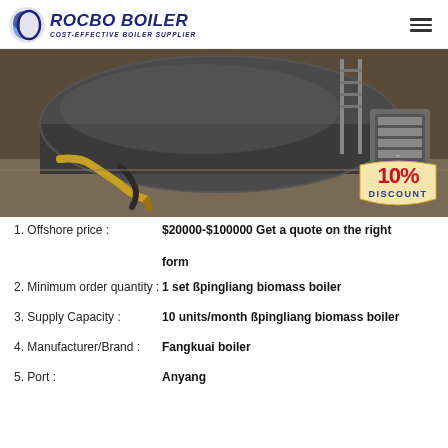ROCBO BOILER — COST-EFFECTIVE BOILER SUPPLIER
[Figure (photo): Industrial boiler equipment in a factory setting, with a 10% DISCOUNT badge overlay in the bottom-right corner.]
1. Offshore price : $20000-$100000 Get a quote on the right form
2. Minimum order quantity : 1 set ßpingliang biomass boiler
3. Supply Capacity : 10 units/month ßpingliang biomass boiler
4. Manufacturer/Brand : Fangkuai boiler
5. Port : Anyang